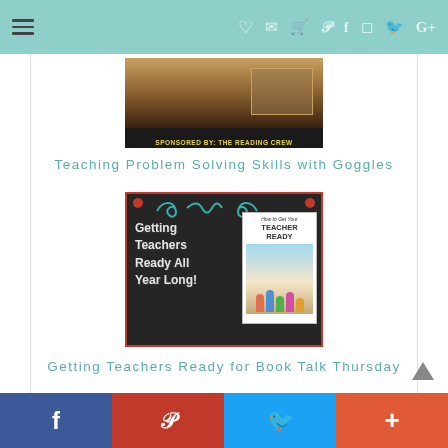Navigation bar with hamburger menu and social icons
[Figure (photo): Sponsored image with 'SPONSORED BY: THE READING CREW' banner at bottom]
Teaching Problem Solving Skills with Goggles
[Figure (photo): Chalkboard image reading 'Getting Teachers Ready All Year Long!' with a book cover 'How to Get Your Teacher Ready']
Getting Teachers Ready for Book Talk Thursday
Social sharing bar with Facebook, Pinterest, Twitter, and Plus buttons